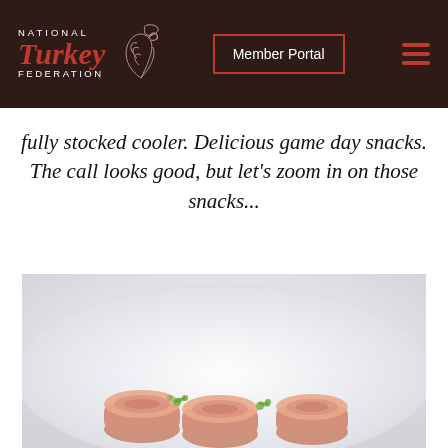NATIONAL Turkey FEDERATION | Member Portal
fully stocked cooler. Delicious game day snacks. The call looks good, but let's zoom in on those snacks...
[Figure (photo): Close-up photo of food items (rolled turkey snacks) on a white plate, showing orange/salmon colored rolls with green garnish on a light background]